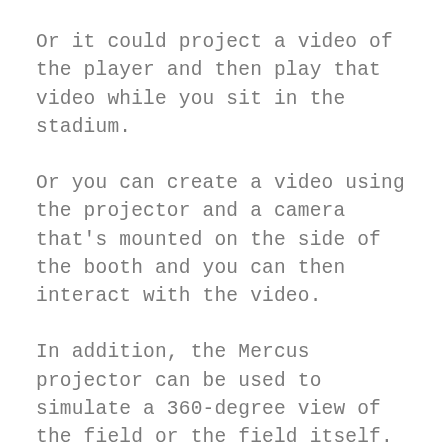Or it could project a video of the player and then play that video while you sit in the stadium.
Or you can create a video using the projector and a camera that's mounted on the side of the booth and you can then interact with the video.
In addition, the Mercus projector can be used to simulate a 360-degree view of the field or the field itself.
You can also use it to create the illusion of virtual reality for your team's training sessions.
The Mercus Projector is not a...